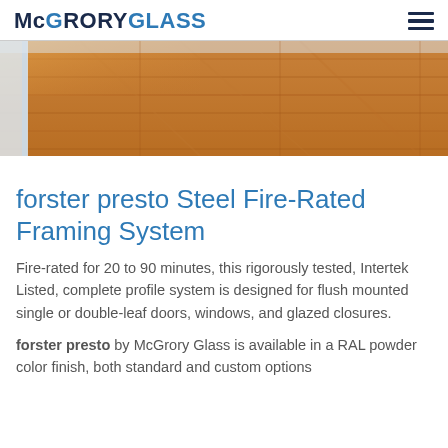McGRORYGLASS
[Figure (photo): Interior photo showing hardwood flooring with white door frame and natural wood grain floor in warm orange-brown tones]
forster presto Steel Fire-Rated Framing System
Fire-rated for 20 to 90 minutes, this rigorously tested, Intertek Listed, complete profile system is designed for flush mounted single or double-leaf doors, windows, and glazed closures.
forster presto by McGrory Glass is available in a RAL powder color finish, both standard and custom options